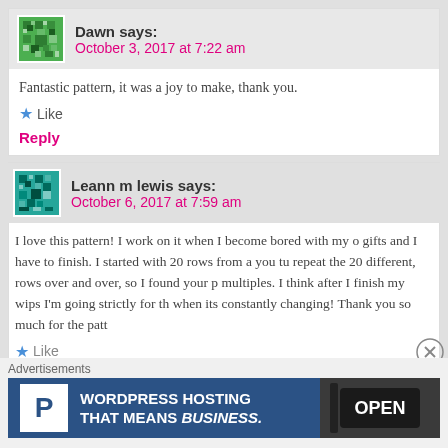Dawn says:
October 3, 2017 at 7:22 am
Fantastic pattern, it was a joy to make, thank you.
Like
Reply
Leann m lewis says:
October 6, 2017 at 7:59 am
I love this pattern! I work on it when I become bored with my other gifts and I have to finish. I started with 20 rows from a you tu repeat the 20 different, rows over and over, so I found your p multiples. I think after I finish my wips I'm going strictly for th when its constantly changing! Thank you so much for the patt
Like
Advertisements
[Figure (screenshot): WordPress Hosting That Means Business advertisement banner with P logo and OPEN sign photo]